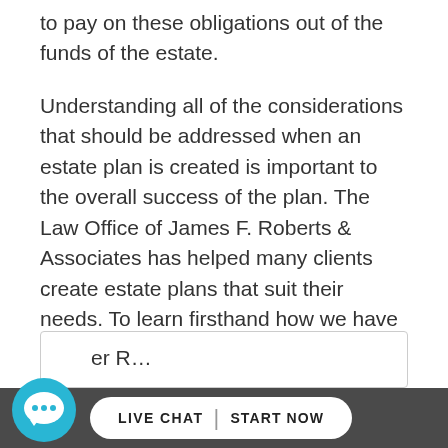to pay on these obligations out of the funds of the estate.
Understanding all of the considerations that should be addressed when an estate plan is created is important to the overall success of the plan. The Law Office of James F. Roberts & Associates has helped many clients create estate plans that suit their needs. To learn firsthand how we have assisted our clients, we encourage you to view our client testimonials page today.
Other Readings
[Figure (other): Live chat widget with chat bubble icon and 'LIVE CHAT | START NOW' button in footer bar]